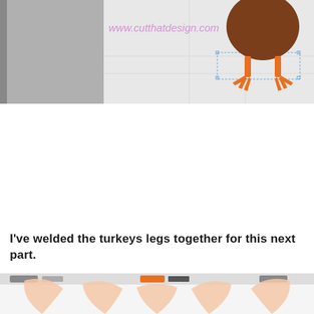[Figure (screenshot): Screenshot of a design software (likely Silhouette) showing a turkey body with orange legs and feet on a white canvas grid. The URL www.cutthatdesign.com is visible in pink/purple text watermark overlay. Left side shows a gray panel.]
I've welded the turkeys legs together for this next part.
[Figure (screenshot): Partial screenshot showing the bottom portion of a design software interface with toolbar at top and a large peach/light orange turkey feather/tail design visible at the bottom.]